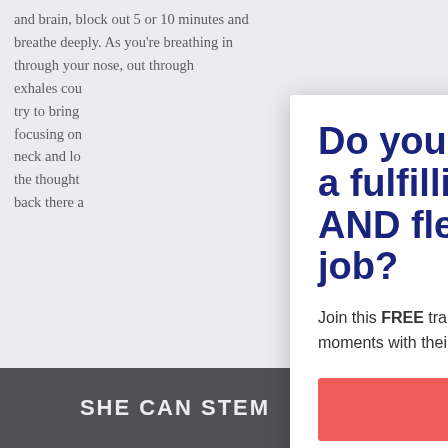and brain, block out 5 or 10 minutes and breathe deeply. As you're breathing in through your nose, out through [your mouth], exhales count... try to bring [your attention], focusing on [your body], neck and lo[wer back], the thought [returns], back there a[gain]...
The uncerta[inty...] you get bac[k...] worries for l[ater...]
[Figure (screenshot): Modal popup dialog with close X button. Contains headline 'Do you want a fulfilling AND flexible job?', body text 'Join this FREE training for parents who want to love their jobs without missing out on moments with their kids.', and a coral/red 'Save My Spot!' button.]
[Figure (photo): Dark/black background image with bold white text reading 'SHE CAN STEM']